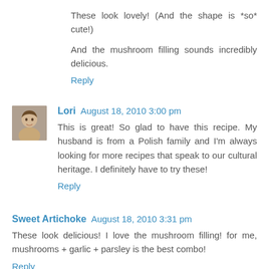These look lovely! (And the shape is *so* cute!)
And the mushroom filling sounds incredibly delicious.
Reply
Lori  August 18, 2010 3:00 pm
This is great! So glad to have this recipe. My husband is from a Polish family and I'm always looking for more recipes that speak to our cultural heritage. I definitely have to try these!
Reply
Sweet Artichoke  August 18, 2010 3:31 pm
These look delicious! I love the mushroom filling! for me, mushrooms + garlic + parsley is the best combo!
Reply